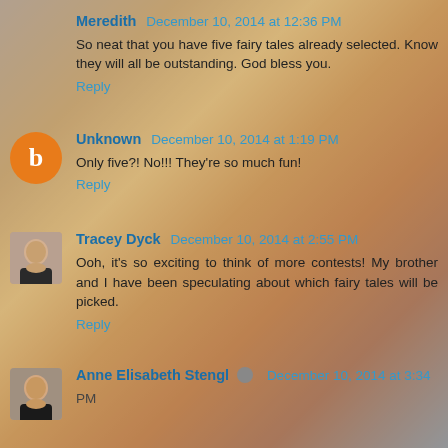Meredith December 10, 2014 at 12:36 PM
So neat that you have five fairy tales already selected. Know they will all be outstanding. God bless you.
Reply
Unknown December 10, 2014 at 1:19 PM
Only five?! No!!! They're so much fun!
Reply
Tracey Dyck December 10, 2014 at 2:55 PM
Ooh, it's so exciting to think of more contests! My brother and I have been speculating about which fairy tales will be picked.
Reply
Anne Elisabeth Stengl December 10, 2014 at 3:34 PM